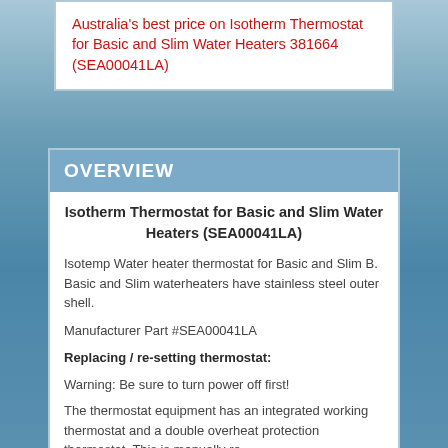Australia's best price on Isotherm Thermostat for Basic and Slim Water Heaters 381664 (SEA00041LA)
OVERVIEW
Isotherm Thermostat for Basic and Slim Water Heaters (SEA00041LA)
Isotemp Water heater thermostat for Basic and Slim B. Basic and Slim waterheaters have stainless steel outer shell.
Manufacturer Part #SEA00041LA
Replacing / re-setting thermostat:
Warning: Be sure to turn power off first!
The thermostat equipment has an integrated working thermostat and a double overheat protection thermostat. This is manually re-